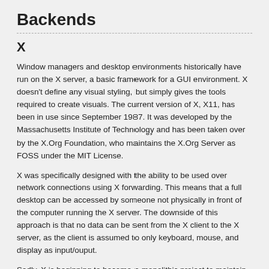Backends
X
Window managers and desktop environments historically have run on the X server, a basic framework for a GUI environment. X doesn't define any visual styling, but simply gives the tools required to create visuals. The current version of X, X11, has been in use since September 1987. It was developed by the Massachusetts Institute of Technology and has been taken over by the X.Org Foundation, who maintains the X.Org Server as FOSS under the MIT License.
X was specifically designed with the ability to be used over network connections using X forwarding. This means that a full desktop can be accessed by someone not physically in front of the computer running the X server. The downside of this approach is that no data can be sent from the X client to the X server, as the client is assumed to only keyboard, mouse, and display as input/ouput.
Sadly, X is beginning to become a monolithic project to maintain and change, and with its growing age, some are looking for a